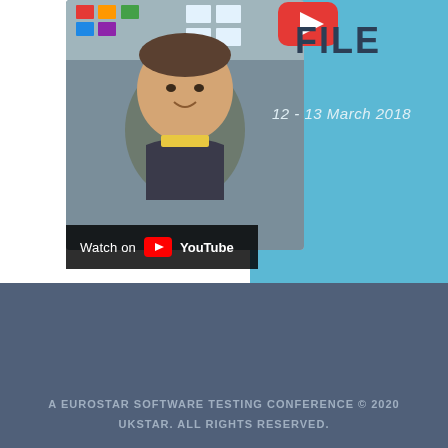[Figure (screenshot): YouTube video thumbnail showing a man in front of a classroom/office setting, with a blue background panel showing a YouTube play button icon and text 'FILE' and '12 - 13 March 2018'. A 'Watch on YouTube' bar overlays the bottom of the thumbnail.]
100%
A EUROSTAR SOFTWARE TESTING CONFERENCE © 2020 UKSTAR. ALL RIGHTS RESERVED.